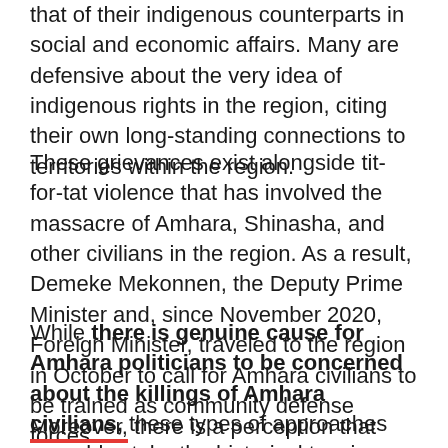that of their indigenous counterparts in social and economic affairs. Many are defensive about the very idea of indigenous rights in the region, citing their own long-standing connections to territories within the region.
These grievances exist alongside tit-for-tat violence that has involved the massacre of Amhara, Shinasha, and other civilians in the region. As a result, Demeke Mekonnen, the Deputy Prime Minister and, since November 2020, Foreign Minister, traveled to the region in October to call for Amhara civilians to be trained as community defense forces.
While there is genuine cause for Amhara politicians to be concerned about the killings of Amhara civilians, these types of approaches arguably stoke the historical tensions that underlie the violence.
Moreover, there is a perception that well-connected